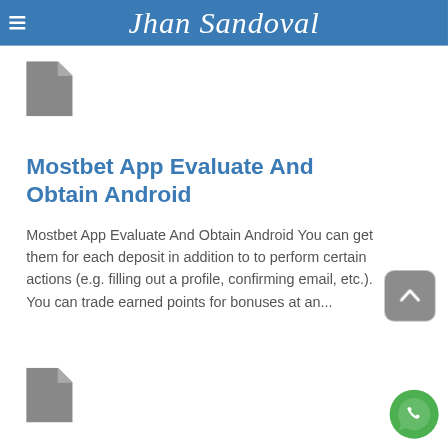Jhan Sandoval
[Figure (illustration): Grey document/file icon with folded corner, first instance]
Mostbet App Evaluate And Obtain Android
Mostbet App Evaluate And Obtain Android You can get them for each deposit in addition to to perform certain actions (e.g. filling out a profile, confirming email, etc.). You can trade earned points for bonuses at an...
[Figure (illustration): Grey document/file icon with folded corner, second instance at bottom]
[Figure (illustration): Green WhatsApp phone icon button at bottom right]